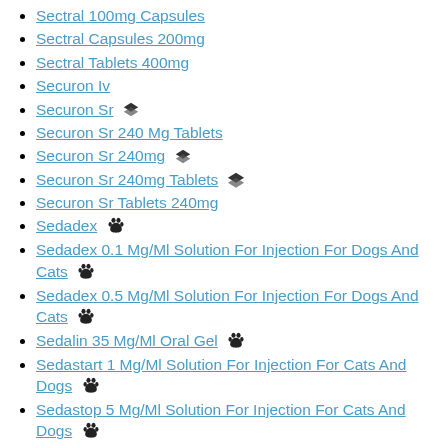Sectral 100mg Capsules
Sectral Capsules 200mg
Sectral Tablets 400mg
Securon Iv
Securon Sr [layers icon]
Securon Sr 240 Mg Tablets
Securon Sr 240mg [layers icon]
Securon Sr 240mg Tablets [layers icon]
Securon Sr Tablets 240mg
Sedadex [paw icon]
Sedadex 0.1 Mg/Ml Solution For Injection For Dogs And Cats [paw icon]
Sedadex 0.5 Mg/Ml Solution For Injection For Dogs And Cats [paw icon]
Sedalin 35 Mg/Ml Oral Gel [paw icon]
Sedastart 1 Mg/Ml Solution For Injection For Cats And Dogs [paw icon]
Sedastop 5 Mg/Ml Solution For Injection For Cats And Dogs [paw icon]
Sedator 1.0 Mg/Ml Solution For Injection For Cats And Dogs [paw icon]
Sedaxylan 20 Mg/Ml Solution For Injection For Dogs, Cats, Horses And Cattle [paw icon]
Sedecalm 1 Mg/Ml Solution For Injection For Dogs And Cats [paw icon]
Sedecalm 1 Mg/Ml Solution For Injection For D... (partial)